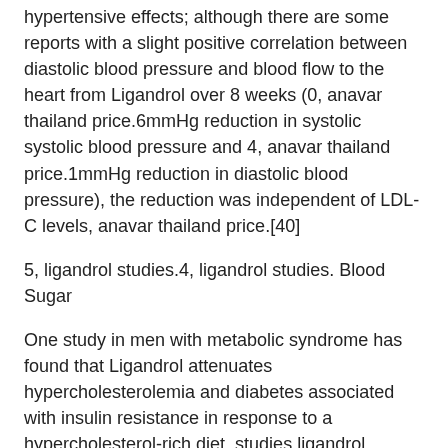hypertensive effects; although there are some reports with a slight positive correlation between diastolic blood pressure and blood flow to the heart from Ligandrol over 8 weeks (0, anavar thailand price.6mmHg reduction in systolic systolic blood pressure and 4, anavar thailand price.1mmHg reduction in diastolic blood pressure), the reduction was independent of LDL-C levels, anavar thailand price.[40]
5, ligandrol studies.4, ligandrol studies. Blood Sugar
One study in men with metabolic syndrome has found that Ligandrol attenuates hypercholesterolemia and diabetes associated with insulin resistance in response to a hypercholesterol-rich diet, studies ligandrol.
Ligandrol side effects